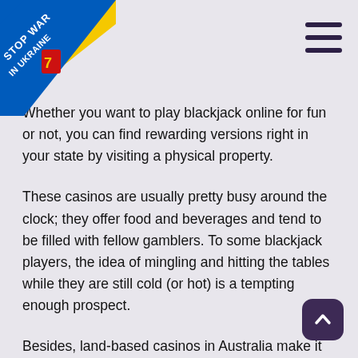[Figure (logo): Stop War In Ukraine ribbon badge overlaid on top-left corner of the page, with blue and yellow colors and text 'STOP WAR IN UKRAINE']
[Figure (other): Hamburger menu icon (three horizontal dark purple lines) in the top-right corner]
Whether you want to play blackjack online for fun or not, you can find rewarding versions right in your state by visiting a physical property.
These casinos are usually pretty busy around the clock; they offer food and beverages and tend to be filled with fellow gamblers. To some blackjack players, the idea of mingling and hitting the tables while they are still cold (or hot) is a tempting enough prospect.
Besides, land-based casinos in Australia make it possible to use some time-tested strategies, such as card-counting. After all, you ought to remember that card counting doesn't work online, and the only way to beat a casino by using this strategy is to visit those available physically in your state.
Australia has plenty of major casinos in densely populated areas, so a trip to the actual property is not